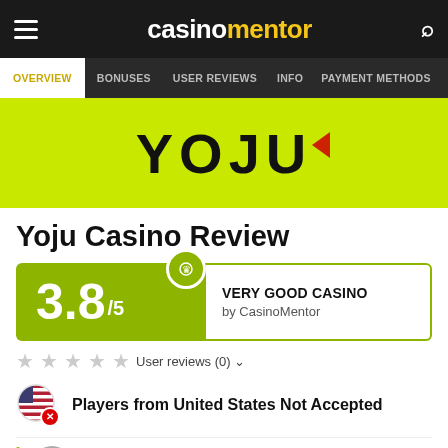casinomentor
[Figure (screenshot): Navigation bar with hamburger menu, CasinoMentor logo, and search icon on dark background]
[Figure (screenshot): Sub-navigation tabs: OVERVIEW (active), BONUSES, USER REVIEWS, INFO, PAYMENT METHODS]
[Figure (logo): YOJU casino logo on lime green background with red triangle accent]
Yoju Casino Review
[Figure (infographic): Rating box showing 3.8/5 with crown icon, labeled VERY GOOD CASINO by CasinoMentor]
User reviews (0)
Players from United States Not Accepted
No Deposit Bonus